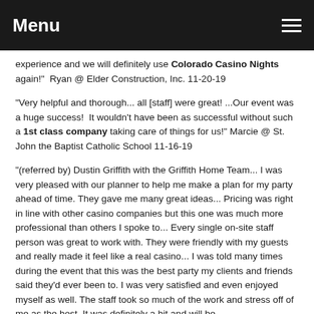Menu
experience and we will definitely use Colorado Casino Nights again!"  Ryan @ Elder Construction, Inc. 11-20-19
"Very helpful and thorough... all [staff] were great! ...Our event was a huge success!  It wouldn't have been as successful without such a 1st class company taking care of things for us!" Marcie @ St. John the Baptist Catholic School 11-16-19
"(referred by) Dustin Griffith with the Griffith Home Team... I was very pleased with our planner to help me make a plan for my party ahead of time. They gave me many great ideas... Pricing was right in line with other casino companies but this one was much more professional than others I spoke to... Every single on-site staff person was great to work with. They were friendly with my guests and really made it feel like a real casino... I was told many times during the event that this was the best party my clients and friends said they'd ever been to. I was very satisfied and even enjoyed myself as well. The staff took so much of the work and stress off of me as the host. It was definitely a hit and will be